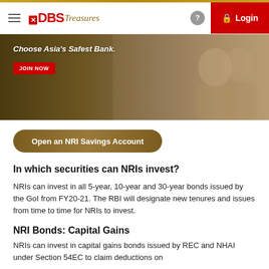DBS Treasures — Login
[Figure (photo): Banner image showing two people relaxing, with text 'Choose Asia's Safest Bank.' and a red JOIN NOW button overlay on a warm-toned background.]
[Figure (other): Rounded pill-shaped button with gradient brown background reading 'Open an NRI Savings Account']
In which securities can NRIs invest?
NRIs can invest in all 5-year, 10-year and 30-year bonds issued by the GoI from FY20-21. The RBI will designate new tenures and issues from time to time for NRIs to invest.
NRI Bonds: Capital Gains
NRIs can invest in capital gains bonds issued by REC and NHAI under Section 54EC to claim deductions on